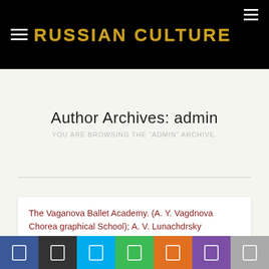RUSSIAN CULTURE
Author Archives: admin
The Vaganova Ballet Academy. (A. Y. Vagdnova Chorea graphical School); A. V. Lunachdrsky Theatrical Library; A. N. Ostrovsky Theatrical Museum; lite…